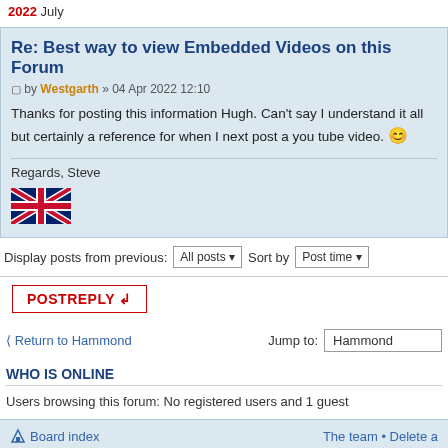2022 July
Re: Best way to view Embedded Videos on this Forum
by Westgarth » 04 Apr 2022 12:10
Thanks for posting this information Hugh. Can't say I understand it all but certainly a reference for when I next post a you tube video. 😊
Regards, Steve
Display posts from previous: All posts  Sort by  Post time
POSTREPLY
Return to Hammond   Jump to:  Hammond
WHO IS ONLINE
Users browsing this forum: No registered users and 1 guest
Board index   The team • Delete a
Powered by phpBB® Forum Software © phpBB Gr